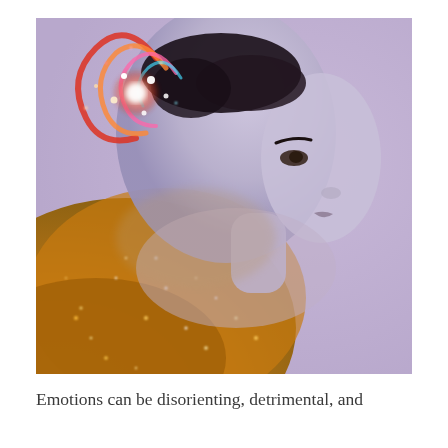[Figure (photo): A stylized photo of a woman in side profile with a glittery gold/orange body and a lavender-blue face, against a soft purple background. Swirling colorful galaxy-like lights appear near her head, suggesting cosmic or neural imagery.]
Emotions can be disorienting, detrimental, and